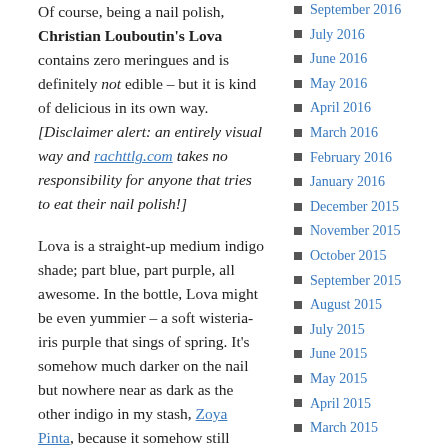Of course, being a nail polish, Christian Louboutin's Lova contains zero meringues and is definitely not edible – but it is kind of delicious in its own way. [Disclaimer alert: an entirely visual way and rachttlg.com takes no responsibility for anyone that tries to eat their nail polish!]
Lova is a straight-up medium indigo shade; part blue, part purple, all awesome. In the bottle, Lova might be even yummier – a soft wisteria-iris purple that sings of spring. It's somehow much darker on the nail but nowhere near as dark as the other indigo in my stash, Zoya Pinta, because it somehow still manages to be a bright clean colour-pop too.
Continue reading →
September 2016
July 2016
June 2016
May 2016
April 2016
March 2016
February 2016
January 2016
December 2015
November 2015
October 2015
September 2015
August 2015
July 2015
June 2015
May 2015
April 2015
March 2015